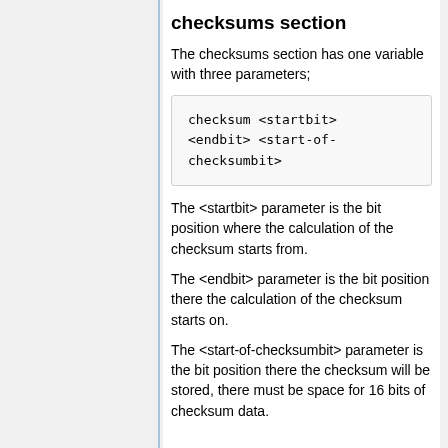checksums section
The checksums section has one variable with three parameters;
checksum <startbit> <endbit> <start-of-checksumbit>
The <startbit> parameter is the bit position where the calculation of the checksum starts from.
The <endbit> parameter is the bit position there the calculation of the checksum starts on.
The <start-of-checksumbit> parameter is the bit position there the checksum will be stored, there must be space for 16 bits of checksum data.